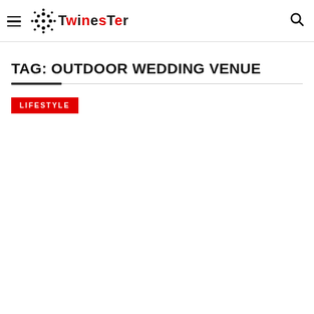TwinesTer
TAG: OUTDOOR WEDDING VENUE
LIFESTYLE